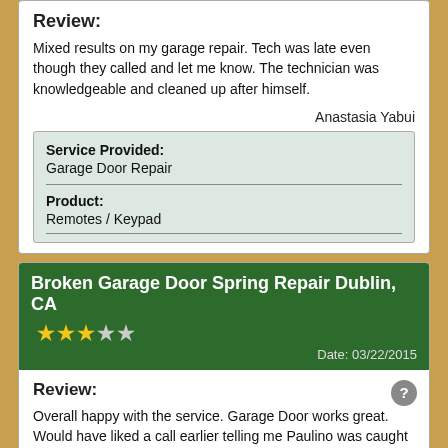Review:
Mixed results on my garage repair. Tech was late even though they called and let me know. The technician was knowledgeable and cleaned up after himself.
Anastasia Yabui
| Service Provided: | Garage Door Repair |
| Product: | Remotes / Keypad |
Broken Garage Door Spring Repair Dublin, CA ★★★☆☆ Date: 03/22/2015
Review:
Overall happy with the service. Garage Door works great. Would have liked a call earlier telling me Paulino was caught in traffic and running late. Once he got here he was very quick and effective repairing garage door.
Debbie Grant